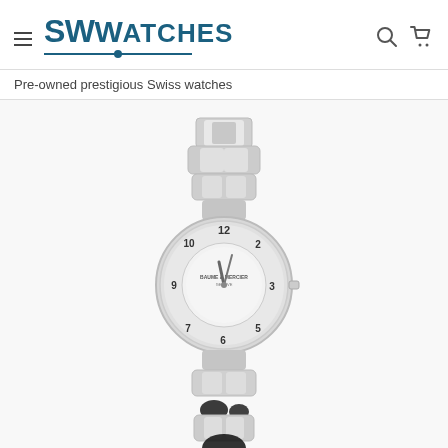SWWatches — Pre-owned prestigious Swiss watches
Pre-owned prestigious Swiss watches
[Figure (photo): A ladies stainless steel Swiss watch with a round silver dial, Arabic numeral hour markers on a polished bezel, silver hands, and a stainless steel bracelet with rectangular links, photographed on a white background.]